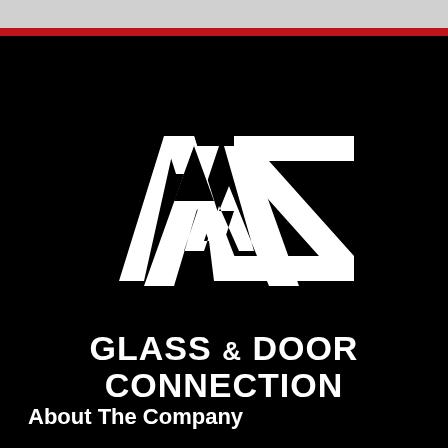[Figure (logo): AZ Glass & Door Connection logo — large white stylized letters A and Z on black background, with red stripe at top]
GLASS & DOOR CONNECTION
About The Company